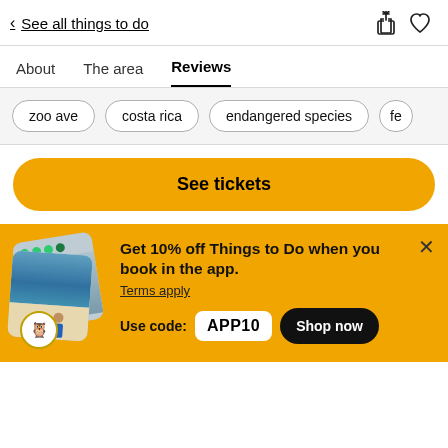< See all things to do
About
The area
Reviews
zoo ave
costa rica
endangered species
fe
[Figure (screenshot): Yellow 'See tickets' button]
[Figure (infographic): Promotional banner with app discount: Get 10% off Things to Do when you book in the app. Use code APP10. Shop now button.]